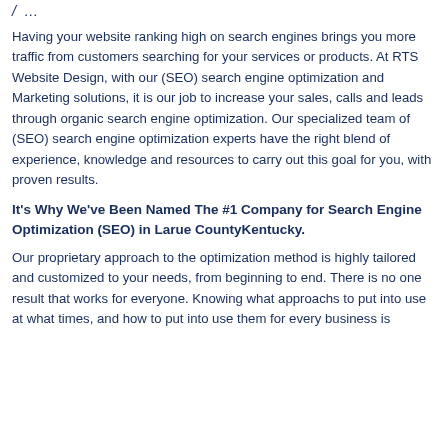/ ...
Having your website ranking high on search engines brings you more traffic from customers searching for your services or products. At RTS Website Design, with our (SEO) search engine optimization and Marketing solutions, it is our job to increase your sales, calls and leads through organic search engine optimization. Our specialized team of (SEO) search engine optimization experts have the right blend of experience, knowledge and resources to carry out this goal for you, with proven results.
It's Why We've Been Named The #1 Company for Search Engine Optimization (SEO) in Larue CountyKentucky.
Our proprietary approach to the optimization method is highly tailored and customized to your needs, from beginning to end. There is no one result that works for everyone. Knowing what approachs to put into use at what times, and how to put into use them for every business is